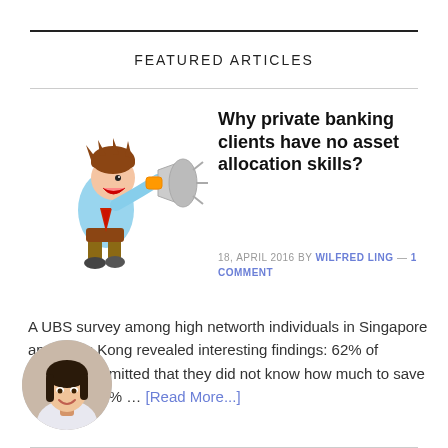FEATURED ARTICLES
[Figure (illustration): Cartoon of a businessman shouting into a megaphone]
Why private banking clients have no asset allocation skills?
18, APRIL 2016 BY WILFRED LING — 1 COMMENT
A UBS survey among high networth individuals in Singapore and Hong Kong revealed interesting findings: 62% of investors admitted that they did not know how much to save ment Only 1% … [Read More...]
[Figure (photo): Circular avatar photo of a young woman smiling]